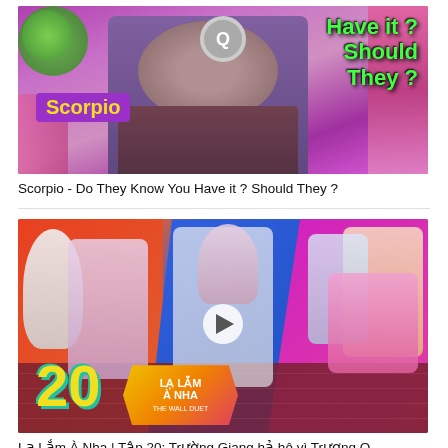[Figure (photo): Thumbnail image for a Scorpio astrology video: man in the center, purple 'Scorpio' label, green text 'Have it? Should They?' on right side, colorful floral background.]
Scorpio - Do They Know You Have it ? Should They ?
[Figure (photo): Thumbnail image for Vietnamese TV show 'Lạ Lắm À Nha' episode 20: colorful collage of masked performers and hosts on orange, blue, and pink background. Large '20' in yellow on left, hexagonal logo in center. Play button icon visible.]
Lạ Lắm À Nha | Tập 20: Trường Giang hả hê vì Trương Quỳnh Anh liên tục bị "người bí ẩn" phủ cực mạnh